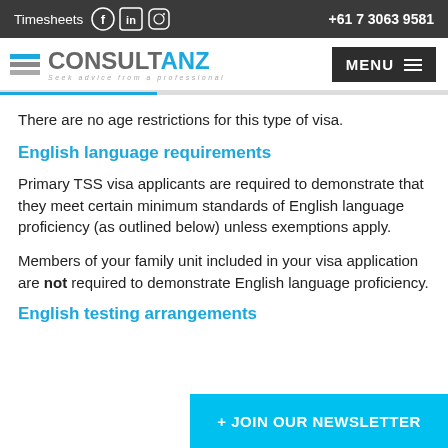Timesheets  +61 7 3063 9581
[Figure (logo): ConsultANZ logo with blue and grey horizontal stripes and tagline 'Seek advice from a professional', with MENU button top right]
There are no age restrictions for this type of visa.
English language requirements
Primary TSS visa applicants are required to demonstrate that they meet certain minimum standards of English language proficiency (as outlined below) unless exemptions apply.
Members of your family unit included in your visa application are not required to demonstrate English language proficiency.
English testing arrangements
+ JOIN OUR NEWSLETTER